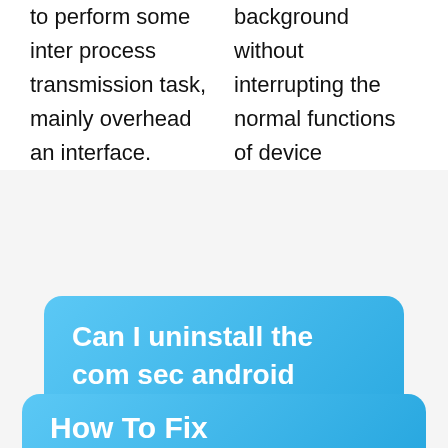to perform some inter process transmission task, mainly overhead an interface.

background without interrupting the normal functions of device
Can I uninstall the com sec android daemonapp?
No, You cannot uninstall com sec android daemonapp from android as there is no suttle way or option to do so. It can only be removed or uninstalled by rooting the device.
How To Fix